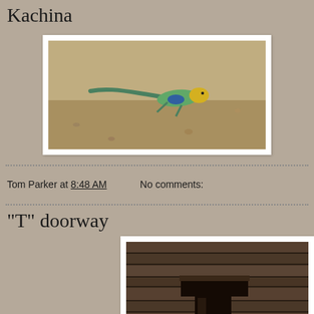Kachina
[Figure (photo): A colorful collared lizard with green and yellow coloring photographed from above on sandy/gravelly ground]
Tom Parker at 8:48 AM    No comments:
"T" doorway
[Figure (photo): A T-shaped doorway in an ancient stone masonry wall, photographed in sepia/dark tones showing layered stonework]